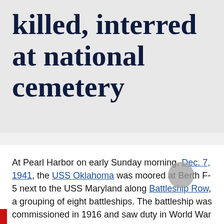killed, interred at national cemetery
At Pearl Harbor on early Sunday morning, Dec. 7, 1941, the USS Oklahoma was moored at Berth F-5 next to the USS Maryland along Battleship Row, a grouping of eight battleships. The battleship was commissioned in 1916 and saw duty in World War I, protecting Allied convoys to Europe.